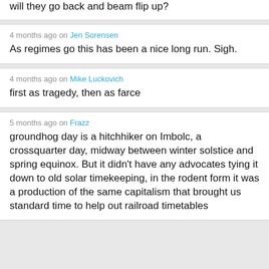will they go back and beam flip up?
4 months ago on Jen Sorensen
As regimes go this has been a nice long run. Sigh.
4 months ago on Mike Luckovich
first as tragedy, then as farce
5 months ago on Frazz
groundhog day is a hitchhiker on Imbolc, a crossquarter day, midway between winter solstice and spring equinox. But it didn't have any advocates tying it down to old solar timekeeping, in the rodent form it was a production of the same capitalism that brought us standard time to help out railroad timetables